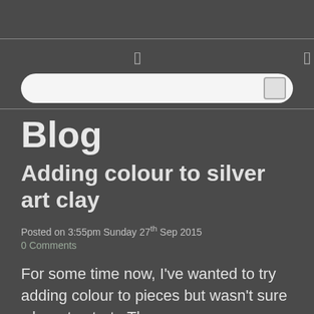navigation bar with icons and search bar
Blog
Adding colour to silver art clay
Posted on 3:55pm Sunday 27th Sep 2015
0 Comments
For some time now, I've wanted to try adding colour to pieces but wasn't sure where to start.  There are so many options but for some reason I kept hesitating - overthinking it all!
(partial line cut off at bottom)